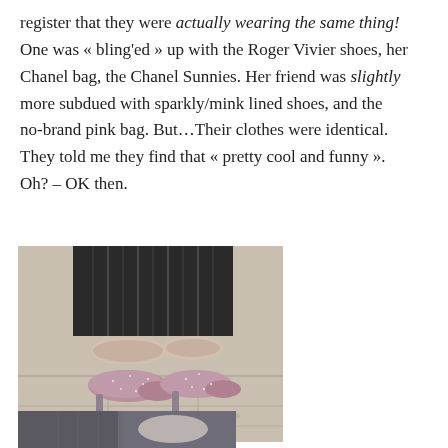register that they were actually wearing the same thing! One was « bling'ed » up with the Roger Vivier shoes, her Chanel bag, the Chanel Sunnies. Her friend was slightly more subdued with sparkly/mink lined shoes, and the no-brand pink bag. But…Their clothes were identical. They told me they find that « pretty cool and funny ». Oh? – OK then.
[Figure (photo): Close-up photo of a person's feet wearing sparkly/glitter pink-mauve high heel pumps with mink/fur trim at the ankle, standing on a pavement. A black pleated skirt is visible above.]
[Figure (photo): Partial photo at bottom of page showing another person's outfit, dark trousers and a light-colored bag or accessory, cropped.]